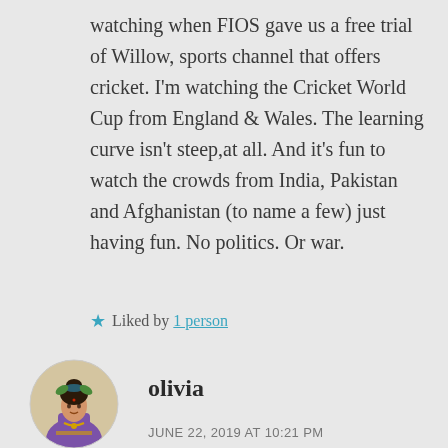watching when FIOS gave us a free trial of Willow, sports channel that offers cricket. I'm watching the Cricket World Cup from England & Wales. The learning curve isn't steep,at all. And it's fun to watch the crowds from India, Pakistan and Afghanistan (to name a few) just having fun. No politics. Or war.
★ Liked by 1 person
[Figure (illustration): Circular avatar image of user olivia — illustrated figure of a woman in purple traditional dress]
olivia
JUNE 22, 2019 AT 10:21 PM